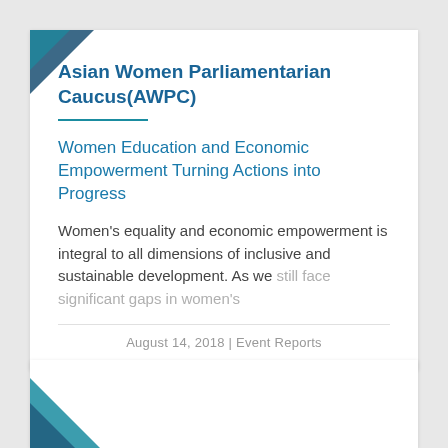Asian Women Parliamentarian Caucus(AWPC)
Women Education and Economic Empowerment Turning Actions into Progress
Women's equality and economic empowerment is integral to all dimensions of inclusive and sustainable development. As we still face significant gaps in women's
August 14, 2018 | Event Reports